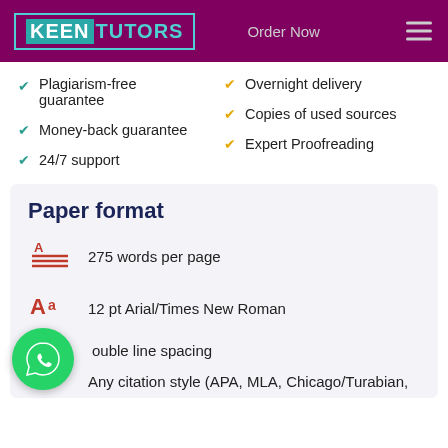KEEN TUTORS — Order Now
Plagiarism-free guarantee
Money-back guarantee
24/7 support
Overnight delivery
Copies of used sources
Expert Proofreading
Paper format
275 words per page
12 pt Arial/Times New Roman
Double line spacing
Any citation style (APA, MLA, Chicago/Turabian,